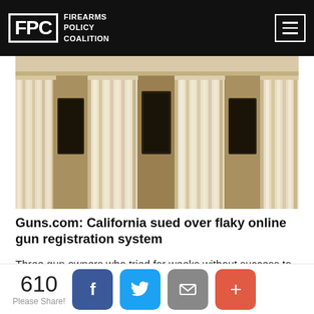FPC FIREARMS POLICY COALITION
[Figure (photo): Upward-angle photograph of a neoclassical building facade with large fluted white columns and tall rectangular windows between them, warm beige/cream tones]
Guns.com: California sued over flaky online gun registration system
Three gun owners who tried for weeks without success to comply with a new mandate to register reclassified “assault weapons” are taking the state to court.
610 Please Share!